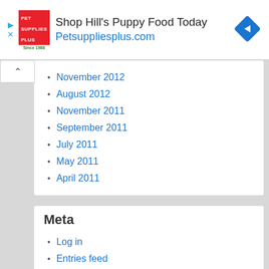[Figure (other): Pet Supplies Plus advertisement banner with logo, text 'Shop Hill's Puppy Food Today Petsuppliesplus.com', and a blue diamond navigation icon]
November 2012
August 2012
November 2011
September 2011
July 2011
May 2011
April 2011
Meta
Log in
Entries feed
Comments feed
WordPress.org